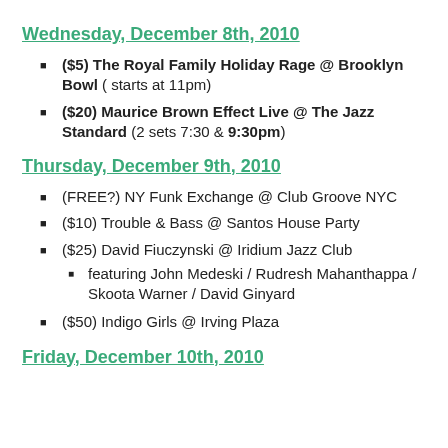Wednesday, December 8th, 2010
($5) The Royal Family Holiday Rage @ Brooklyn Bowl ( starts at 11pm)
($20) Maurice Brown Effect Live @ The Jazz Standard (2 sets 7:30 & 9:30pm)
Thursday, December 9th, 2010
(FREE?) NY Funk Exchange @ Club Groove NYC
($10) Trouble & Bass @ Santos House Party
($25) David Fiuczynski @ Iridium Jazz Club
featuring John Medeski / Rudresh Mahanthappa / Skoota Warner / David Ginyard
($50) Indigo Girls @ Irving Plaza
Friday, December 10th, 2010